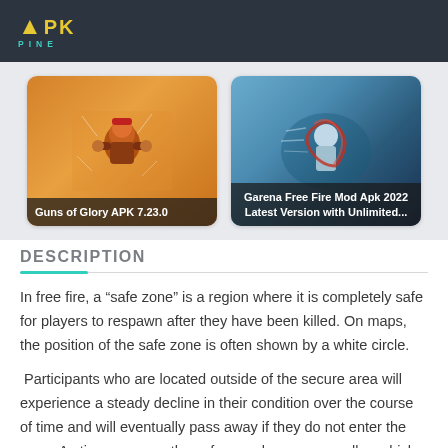[Figure (logo): APK PINE logo — yellow APK text with teal PINE text below, on dark background]
[Figure (screenshot): Card image: Guns of Glory APK 7.23.0 — orange illustrated game artwork with character]
Guns of Glory APK 7.23.0
[Figure (screenshot): Card image: Garena Free Fire Mod Apk 2022 Latest Version with Unlimited... — dark blue action game artwork]
Garena Free Fire Mod Apk 2022 Latest Version with Unlimited...
DESCRIPTION
In free fire, a “safe zone” is a region where it is completely safe for players to respawn after they have been killed. On maps, the position of the safe zone is often shown by a white circle.
Participants who are located outside of the secure area will experience a steady decline in their condition over the course of time and will eventually pass away if they do not enter the zone. As time goes on, the safe zone becomes smaller, which forces the players to approach closer to one another. The